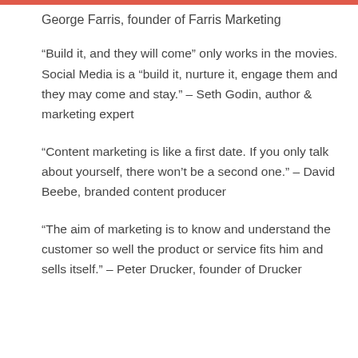George Farris, founder of Farris Marketing
“Build it, and they will come” only works in the movies. Social Media is a “build it, nurture it, engage them and they may come and stay.” – Seth Godin, author & marketing expert
“Content marketing is like a first date. If you only talk about yourself, there won’t be a second one.” – David Beebe, branded content producer
“The aim of marketing is to know and understand the customer so well the product or service fits him and sells itself.” – Peter Drucker, founder of Drucker